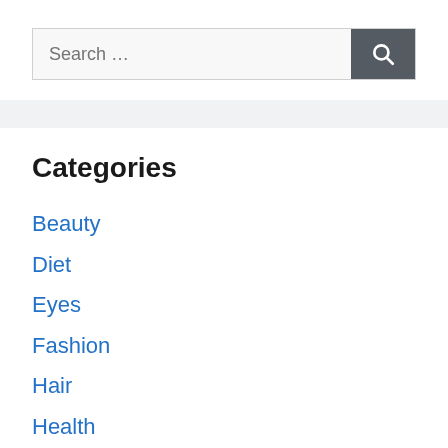[Figure (screenshot): Search bar with text input field showing placeholder 'Search …' and a dark gray search button with a magnifying glass icon]
Categories
Beauty
Diet
Eyes
Fashion
Hair
Health
Jewelry